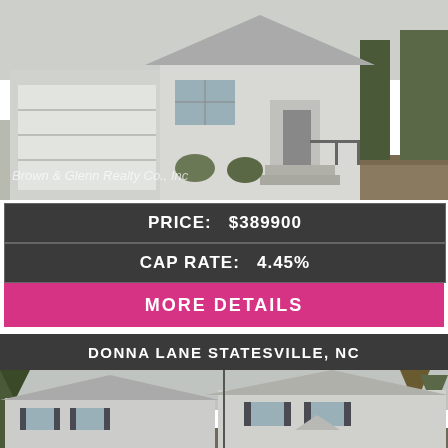[Figure (photo): Exterior photo of a single-story white house with attached garage and front steps, with watermark 'Brown & Glenn Realty Co., Inc']
PRICE:  $389900
CAP RATE:  4.45%
MORE DETAILS
DONNA LANE STATESVILLE, NC
[Figure (photo): Exterior photo of two two-story houses with gray siding and dark shutters, surrounded by trees]